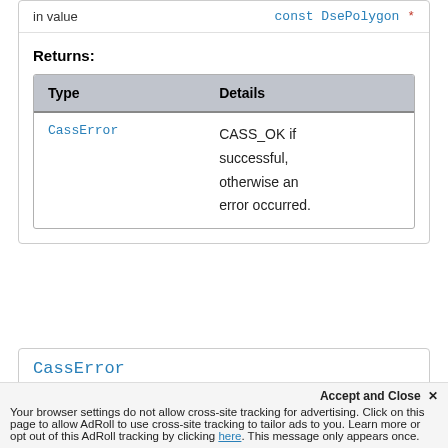| in value | const DsePolygon * |
| --- | --- |
Returns:
| Type | Details |
| --- | --- |
| CassError | CASS_OK if successful, otherwise an error occurred. |
CassError
dsc_graph_object_add_polygon_p